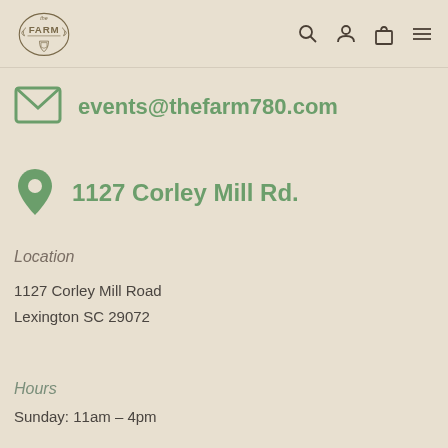The Farm [logo] — navigation icons: search, account, bag, menu
events@thefarm780.com
1127 Corley Mill Rd.
Location
1127 Corley Mill Road
Lexington SC 29072
Hours
Sunday: 11am – 4pm